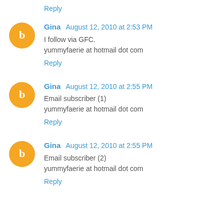Reply
Gina August 12, 2010 at 2:53 PM
I follow via GFC.
yummyfaerie at hotmail dot com
Reply
Gina August 12, 2010 at 2:55 PM
Email subscriber (1)
yummyfaerie at hotmail dot com
Reply
Gina August 12, 2010 at 2:55 PM
Email subscriber (2)
yummyfaerie at hotmail dot com
Reply